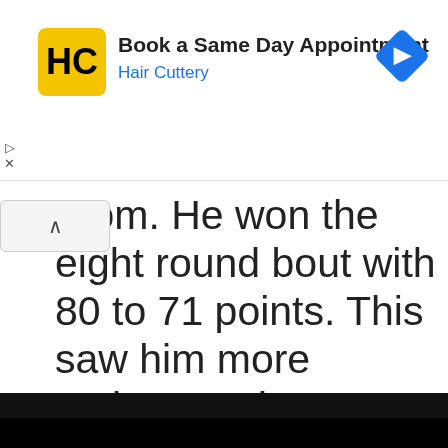[Figure (screenshot): Hair Cuttery advertisement banner with logo, 'Book a Same Day Appointment' heading, navigation arrow icon, and ad controls]
room. He won the eight round bout with 80 to 71 points. This saw him more serious and very focused and for the first time did not dye his
This website uses cookies to ensure you get the best experience on our website.
Learn more
Got it!
[Figure (photo): Dark photo strip at bottom showing people]